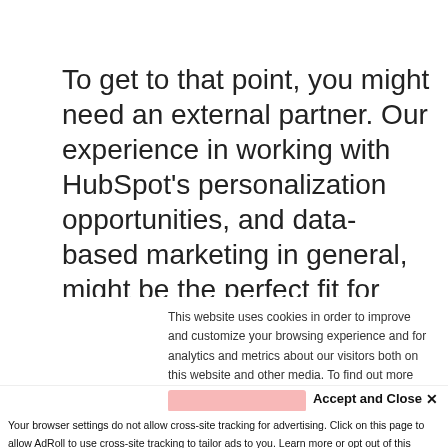To get to that point, you might need an external partner. Our experience in working with HubSpot's personalization opportunities, and data-based marketing in general, might be the perfect fit for your needs.
This website uses cookies in order to improve and customize your browsing experience and for analytics and metrics about our visitors both on this website and other media. To find out more about the cookies we use, see our Privacy Policy.
Accept and Close ✕
Your browser settings do not allow cross-site tracking for advertising. Click on this page to allow AdRoll to use cross-site tracking to tailor ads to you. Learn more or opt out of this AdRoll tracking by clicking here. This message only appears once.